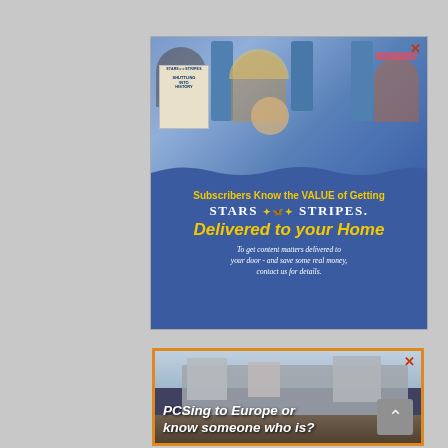[Figure (illustration): Stars and Stripes newspaper advertisement showing a family reading the paper on what appears to be an airplane, with blue background and yellow text promoting home delivery subscription]
[Figure (illustration): Advertisement showing a European castle (appears to be Hohensalzburg or similar) with text 'PCSing to Europe or...' targeting military families relocating to Europe]